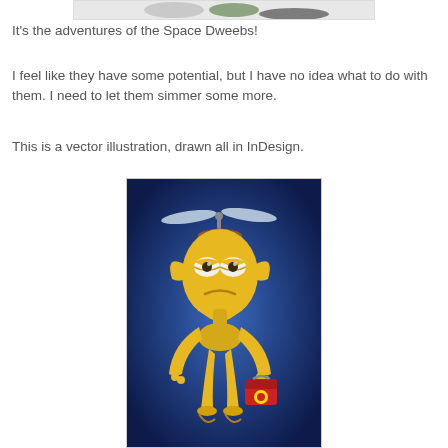[Figure (illustration): Partial view of Space Dweebs characters at top of page — cropped cartoon alien figures]
It's the adventures of the Space Dweebs!
I feel like they have some potential, but I have no idea what to do with them. I need to let them simmer some more.
This is a vector illustration, drawn all in InDesign.
[Figure (illustration): A yellow alien cartoon character with large droopy eyes, pointy ears, a propeller beanie hat, and long thin limbs. It holds a small red lunchbox. The background is a deep blue gradient. The character has a sad or tired expression.]